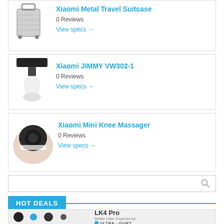[Figure (photo): Xiaomi Metal Travel Suitcase product image - silver metallic suitcase with wheels and handle]
Xiaomi Metal Travel Suitcase
0 Reviews
View specs →
[Figure (photo): Xiaomi JIMMY VW302-1 product image - window vacuum cleaner with black head and white body]
Xiaomi JIMMY VW302-1
0 Reviews
View specs →
[Figure (photo): Xiaomi Mini Knee Massager product image - black and white massager device on knee]
Xiaomi Mini Knee Massager
0 Reviews
View specs →
HOT DEALS
[Figure (photo): LK4 Pro product image - device with black and teal components]
LK4 Pro
Better User Experience
ULTRA · QUIET